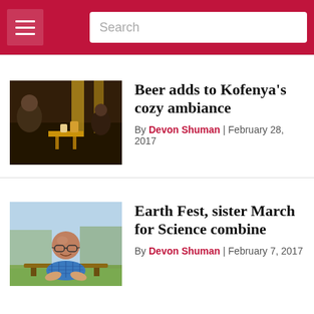Search
[Figure (photo): Interior of Kofenya coffee shop with people sitting at tables in dim warm lighting]
Beer adds to Kofenya's cozy ambiance
By Devon Shuman | February 28, 2017
[Figure (photo): Man with glasses smiling outdoors, seated, wearing a blue plaid shirt]
Earth Fest, sister March for Science combine
By Devon Shuman | February 7, 2017